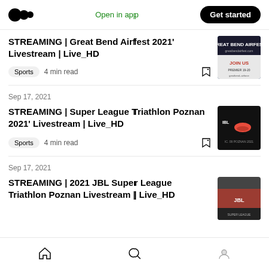Medium logo | Open in app | Get started
STREAMING | Great Bend Airfest 2021' Livestream | Live_HD
Sports  4 min read
Sep 17, 2021
STREAMING | Super League Triathlon Poznan 2021' Livestream | Live_HD
Sports  4 min read
Sep 17, 2021
STREAMING | 2021 JBL Super League Triathlon Poznan Livestream | Live_HD
Home | Search | Profile